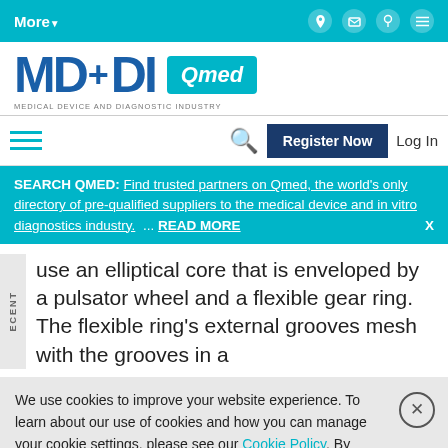More▼   [facebook] [linkedin] [rss] [twitter]
[Figure (logo): MD+DI Qmed logo - Medical Device and Diagnostic Industry]
≡ [search] Register Now  Log In
SEARCH QMED: Find trusted partners on Qmed, the world's only directory of pre-qualified suppliers to the medical device and in vitro diagnostics industry. ... READ MORE  X
use an elliptical core that is enveloped by a pulsator wheel and a flexible gear ring. The flexible ring's external grooves mesh with the grooves in a
We use cookies to improve your website experience. To learn about our use of cookies and how you can manage your cookie settings, please see our Cookie Policy. By continuing to use the website, you consent to our use of cookies.